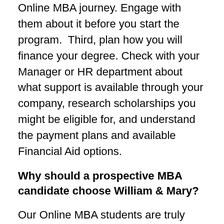Online MBA journey. Engage with them about it before you start the program.  Third, plan how you will finance your degree. Check with your Manager or HR department about what support is available through your company, research scholarships you might be eligible for, and understand the payment plans and available Financial Aid options.
Why should a prospective MBA candidate choose William & Mary?
Our Online MBA students are truly exceptional and bring diverse professional experiences to our program. The MBA faculty at the Raymond A. Mason School of Business is consistently ranked at